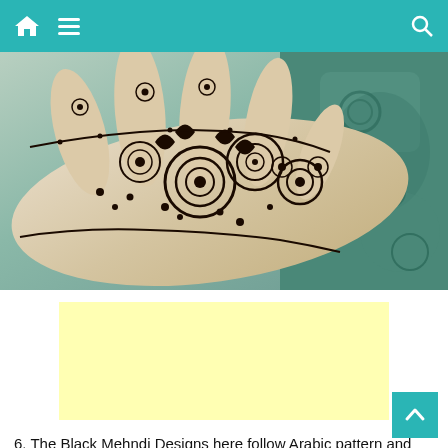Navigation bar with home, menu, and search icons
[Figure (photo): Close-up photograph of a hand decorated with black mehndi/henna in Arabic floral and geometric patterns, resting on a blue-green patterned fabric background.]
[Figure (other): Yellow advertisement placeholder box]
6. The Black Mehndi Designs here follow Arabic pattern and add dots to beautify the bare space on hands. These designs look elegant for front as well as back hands. These designa will perhaps explain you why the Black Henna Designs are becoming popular. Sharp Black Color gives a tattoo like look to the designs and the combination with other colors make the hands look beautiful even if